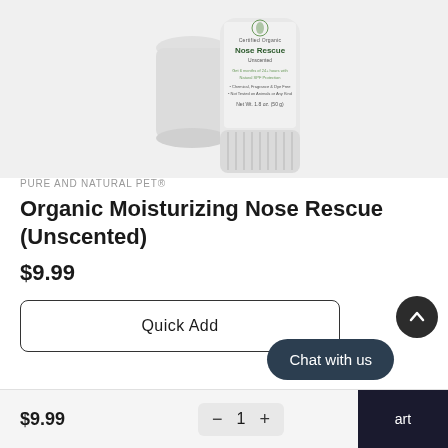[Figure (photo): White cylindrical stick deodorant-style container labeled 'Certified Organic Nose Rescue Unscented' with green text, product cap removed and placed behind the container, on a light gray background.]
PURE AND NATURAL PET®
Organic Moisturizing Nose Rescue (Unscented)
$9.99
Quick Add
$9.99
1
art
Chat with us